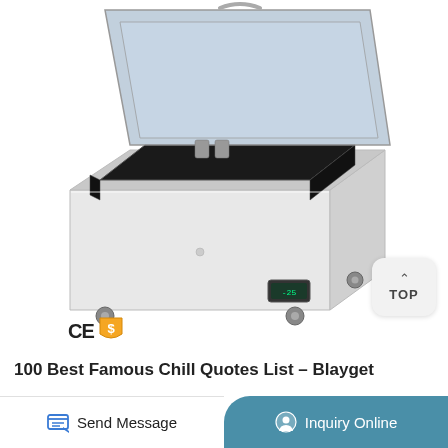[Figure (photo): White chest freezer with open lid showing dark interior, sitting on caster wheels, with a digital display panel on the front lower right. CE certification mark and a gold shield/badge icon visible at bottom left of image.]
TOP
100 Best Famous Chill Quotes List – Blayget
Send Message
Inquiry Online